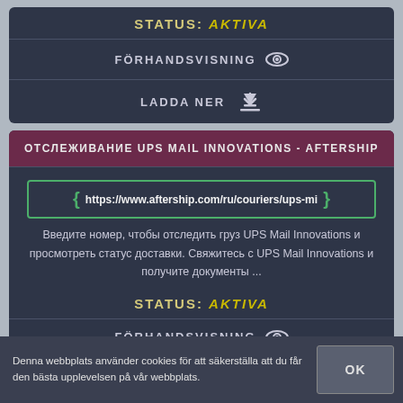STATUS: AKTIVA
FÖRHANDSVISNING
LADDA NER
ОТСЛЕЖИВАНИЕ UPS MAIL INNOVATIONS - AFTERSHIP
https://www.aftership.com/ru/couriers/ups-mi
Введите номер, чтобы отследить груз UPS Mail Innovations и просмотреть статус доставки. Свяжитесь с UPS Mail Innovations и получите документы ...
STATUS: AKTIVA
FÖRHANDSVISNING
Denna webbplats använder cookies för att säkerställa att du får den bästa upplevelsen på vår webbplats.